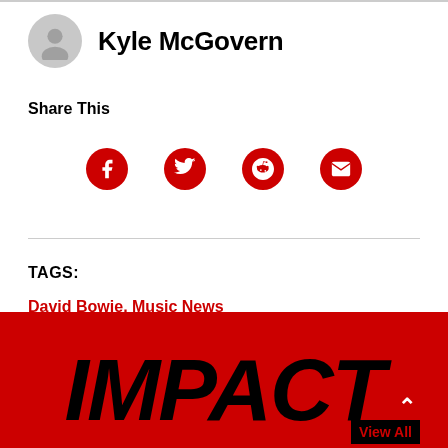Kyle McGovern
Share This
[Figure (infographic): Four social share icons (Facebook, Twitter, Reddit, Email) as white icons on red circles]
TAGS:
David Bowie, Music News
IMPACT
View All